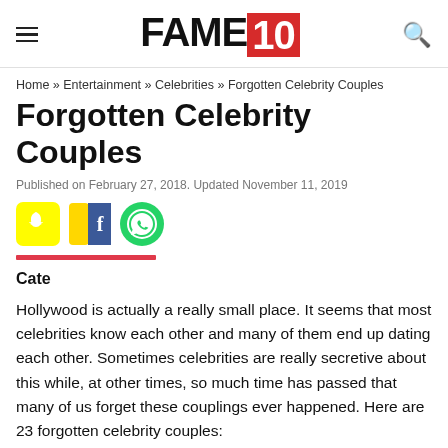FAME 10
Home » Entertainment » Celebrities » Forgotten Celebrity Couples
Forgotten Celebrity Couples
Published on February 27, 2018. Updated November 11, 2019
[Figure (other): Social share icons: Snapchat (yellow), Facebook (blue), WhatsApp (green)]
Cate
Hollywood is actually a really small place. It seems that most celebrities know each other and many of them end up dating each other. Sometimes celebrities are really secretive about this while, at other times, so much time has passed that many of us forget these couplings ever happened. Here are 23 forgotten celebrity couples: